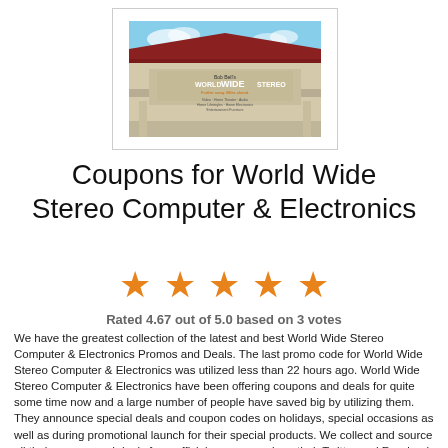[Figure (photo): World Wide Stereo store exterior building photo showing the store sign with 'Bob Bell's World Wide Stereo' text, with blue sky background]
Coupons for World Wide Stereo Computer & Electronics
[Figure (infographic): Five orange star rating symbols]
Rated 4.67 out of 5.0 based on 3 votes
We have the greatest collection of the latest and best World Wide Stereo Computer & Electronics Promos and Deals. The last promo code for World Wide Stereo Computer & Electronics was utilized less than 22 hours ago. World Wide Stereo Computer & Electronics have been offering coupons and deals for quite some time now and a large number of people have saved big by utilizing them. They announce special deals and coupon codes on holidays, special occasions as well as during promotional launch for their special products. We collect and source all their promos and deals from official sources such as their Twitter and Facebook pages, company announcement pages and some other reliable third party outlets.